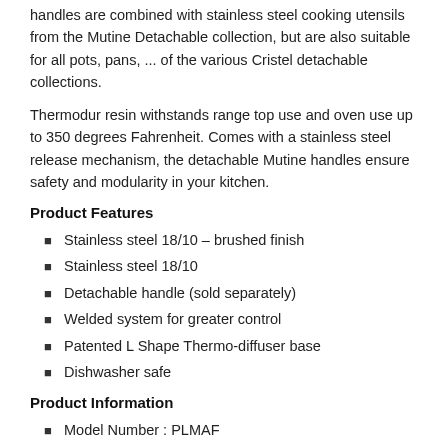handles are combined with stainless steel cooking utensils from the Mutine Detachable collection, but are also suitable for all pots, pans, ... of the various Cristel detachable collections.
Thermodur resin withstands range top use and oven use up to 350 degrees Fahrenheit. Comes with a stainless steel release mechanism, the detachable Mutine handles ensure safety and modularity in your kitchen.
Product Features
Stainless steel 18/10 – brushed finish
Stainless steel 18/10
Detachable handle (sold separately)
Welded system for greater control
Patented L Shape Thermo-diffuser base
Dishwasher safe
Product Information
Model Number : PLMAF